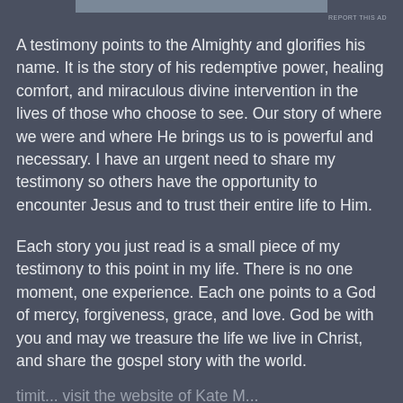[Figure (other): Gray advertisement banner at top of page]
REPORT THIS AD
A testimony points to the Almighty and glorifies his name. It is the story of his redemptive power, healing comfort, and miraculous divine intervention in the lives of those who choose to see. Our story of where we were and where He brings us to is powerful and necessary. I have an urgent need to share my testimony so others have the opportunity to encounter Jesus and to trust their entire life to Him.
Each story you just read is a small piece of my testimony to this point in my life. There is no one moment, one experience. Each one points to a God of mercy, forgiveness, grace, and love. God be with you and may we treasure the life we live in Christ, and share the gospel story with the world.
timit... visit the website of Kate M...